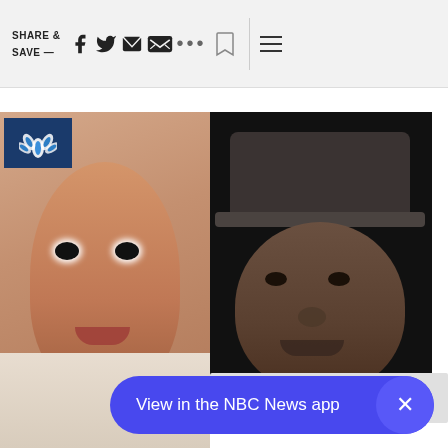SHARE & SAVE —
[Figure (screenshot): Two-photo strip: left shows a close-up of Tiffany Haddish's face against peach background with NBC peacock logo overlay; right shows Aries Spears wearing a dark hat against dark background.]
NBC NEWS / NEWS
Tiffany Haddish and Aries Spears accused of...
[Figure (screenshot): Partial bottom image strip, partially visible, cut off.]
View in the NBC News app